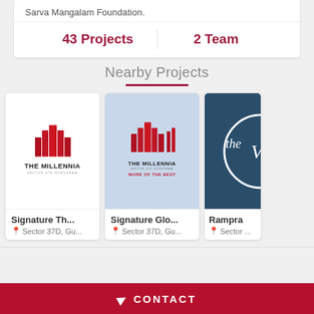Sarva Mangalam Foundation.
43 Projects
2 Team
Nearby Projects
[Figure (logo): The Millennia Sector 37D Gurugram logo on white background - red building silhouette icon with THE MILLENNIA SECTOR 37D,GURUGRAM text]
Signature Th...
Sector 37D, Gu...
[Figure (logo): The Millennia II Sector 37D Gurugram logo on light blue background - MORE OF THE BEST tagline]
Signature Glo...
Sector 37D, Gu...
[Figure (logo): Partial logo on dark teal/navy background - circular design with 'the' text visible]
Rampra
Sector ...
CONTACT